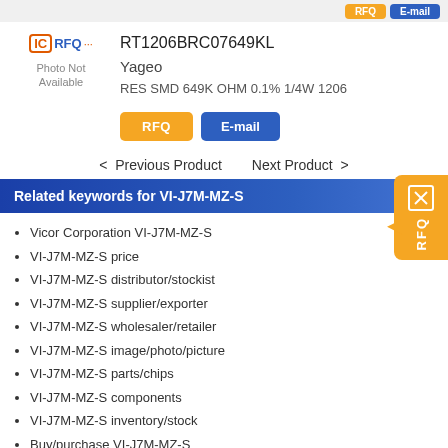RFQ  E-mail
[Figure (logo): IC RFQ logo with Photo Not Available placeholder]
RT1206BRC07649KL
Yageo
RES SMD 649K OHM 0.1% 1/4W 1206
RFQ  E-mail
< Previous Product    Next Product >
Related keywords for VI-J7M-MZ-S
Vicor Corporation VI-J7M-MZ-S
VI-J7M-MZ-S price
VI-J7M-MZ-S distributor/stockist
VI-J7M-MZ-S supplier/exporter
VI-J7M-MZ-S wholesaler/retailer
VI-J7M-MZ-S image/photo/picture
VI-J7M-MZ-S parts/chips
VI-J7M-MZ-S components
VI-J7M-MZ-S inventory/stock
Buy/purchase VI-J7M-MZ-S
VI-J7M-MZ-S broker/dealer
VI-J7M-MZ-S manufacturer